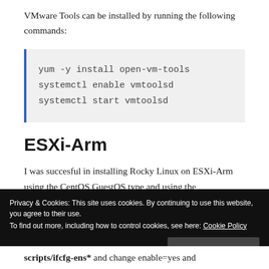VMware Tools can be installed by running the following commands:
yum -y install open-vm-tools
systemctl enable vmtoolsd
systemctl start vmtoolsd
ESXi-Arm
I was succesful in installing Rocky Linux on ESXi-Arm using the CentOS GuestOS type and using the
Privacy & Cookies: This site uses cookies. By continuing to use this website, you agree to their use.
To find out more, including how to control cookies, see here: Cookie Policy
scripts/ifcfg-ens* and change enable=yes and